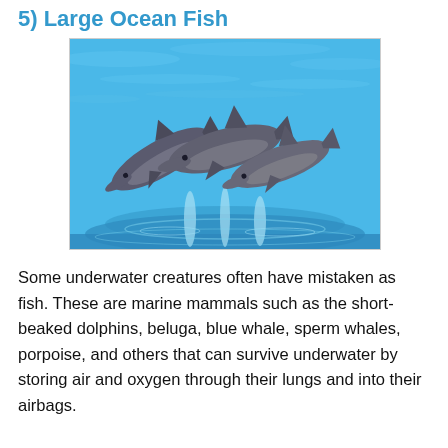5) Large Ocean Fish
[Figure (photo): Three dolphins leaping out of blue water simultaneously, with water splashing beneath them.]
Some underwater creatures often have mistaken as fish. These are marine mammals such as the short-beaked dolphins, beluga, blue whale, sperm whales, porpoise, and others that can survive underwater by storing air and oxygen through their lungs and into their airbags.